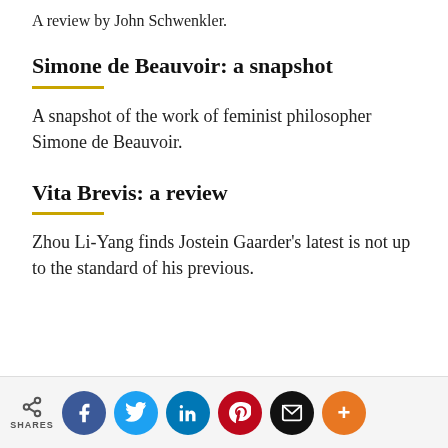A review by John Schwenkler.
Simone de Beauvoir: a snapshot
A snapshot of the work of feminist philosopher Simone de Beauvoir.
Vita Brevis: a review
Zhou Li-Yang finds Jostein Gaarder's latest is not up to the standard of his previous.
SHARES | Facebook | Twitter | LinkedIn | Pinterest | Email | More